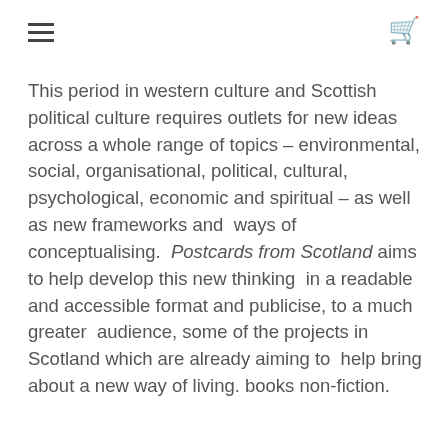[hamburger menu icon] [cart icon]
This period in western culture and Scottish political culture requires outlets for new ideas across a whole range of topics – environmental, social, organisational, political, cultural, psychological, economic and spiritual – as well as new frameworks and  ways of conceptualising.  Postcards from Scotland aims to help develop this new thinking  in a readable and accessible format and publicise, to a much greater  audience, some of the projects in Scotland which are already aiming to  help bring about a new way of living. books non-fiction.